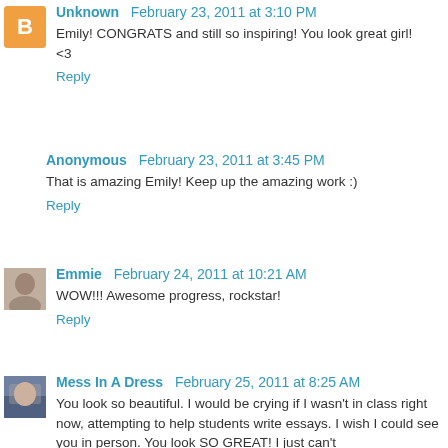Unknown February 23, 2011 at 3:10 PM
Emily! CONGRATS and still so inspiring! You look great girl! <3
Reply
Anonymous February 23, 2011 at 3:45 PM
That is amazing Emily! Keep up the amazing work :)
Reply
Emmie February 24, 2011 at 10:21 AM
WOW!!! Awesome progress, rockstar!
Reply
Mess In A Dress February 25, 2011 at 8:25 AM
You look so beautiful. I would be crying if I wasn't in class right now, attempting to help students write essays. I wish I could see you in person. You look SO GREAT! I just can't